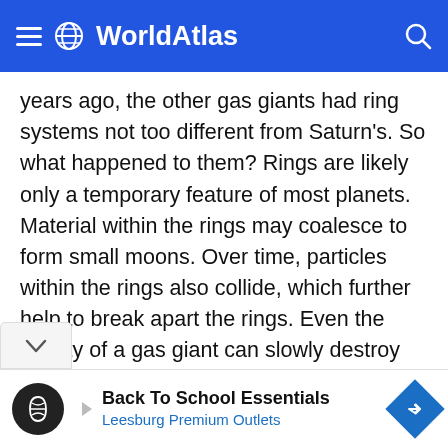WorldAtlas
years ago, the other gas giants had ring systems not too different from Saturn's. So what happened to them? Rings are likely only a temporary feature of most planets. Material within the rings may coalesce to form small moons. Over time, particles within the rings also collide, which further help to break apart the rings. Even the gravity of a gas giant can slowly destroy the rings.
ARTICLE CONTINUES BELOW
Back To School Essentials
Leesburg Premium Outlets